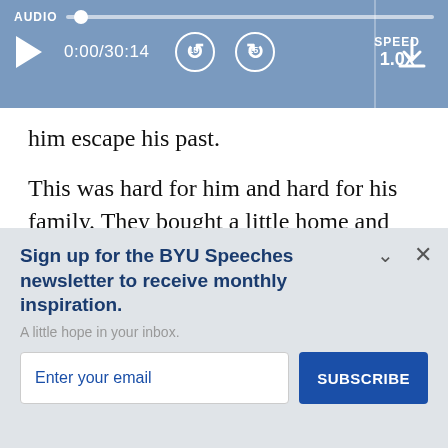[Figure (screenshot): Audio player bar showing AUDIO label, progress bar with thumb at start, play button, time 0:00/30:14, skip back 15s, skip forward 15s, SPEED 1.0x, and download icon]
him escape his past.
This was hard for him and hard for his family. They bought a little home and started a small business, but they struggled both personally and financially and finally...
Sign up for the BYU Speeches newsletter to receive monthly inspiration.
A little hope in your inbox.
Enter your email
SUBSCRIBE